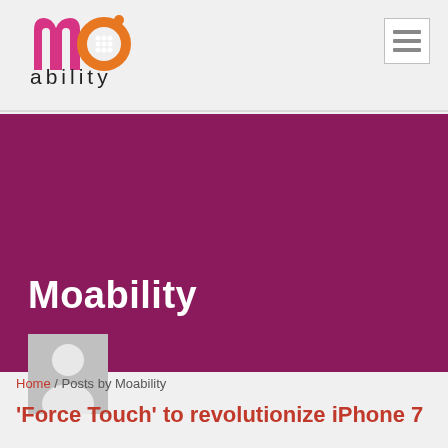[Figure (logo): Moability logo: stylized 'mo' letters in pink/magenta and orange, with 'ability' text below in dark gray]
[Figure (other): Menu/hamburger list icon in a light gray bordered square]
Moability
[Figure (photo): Default user avatar placeholder: gray silhouette of a person on lighter gray background]
Home / Posts by Moability
‘Force Touch’ to revolutionize iPhone 7
Author: Moability / On: Apr 21 / Categories: iPhone /